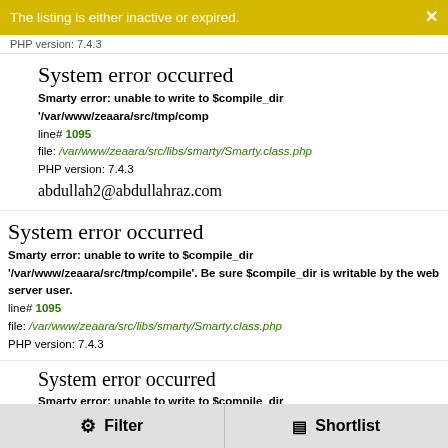The listing is either inactive or expired.
PHP version: 7.4.3
System error occurred
Smarty error: unable to write to $compile_dir '/var/www/zeaara/src/tmp/comp
line# 1095
file: /var/www/zeaara/src/libs/smarty/Smarty.class.php
PHP version: 7.4.3
abdullah2@abdullahraz.com
System error occurred
Smarty error: unable to write to $compile_dir '/var/www/zeaara/src/tmp/compile'. Be sure $compile_dir is writable by the web server user.
line# 1095
file: /var/www/zeaara/src/libs/smarty/Smarty.class.php
PHP version: 7.4.3
System error occurred
Smarty error: unable to write to $compile_dir '/var/www/zeaara/src/tmp/comp
line# 1095
file: /var/www/zeaara/src/libs/smarty/Smarty.class.php
PHP version: 7.4.3
Filter   Shortlist